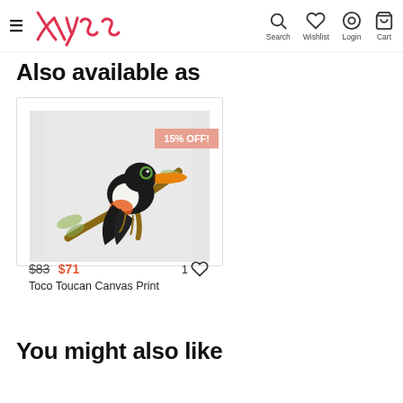Navigation bar with logo, Search, Wishlist, Login, Cart
Also available as
[Figure (photo): Product card showing a Toco Toucan Canvas Print with a 15% OFF! badge. The image shows a watercolor-style painting of a toucan perched on a branch on a light gray background.]
$83 $71
Toco Toucan Canvas Print
1 ♡
You might also like